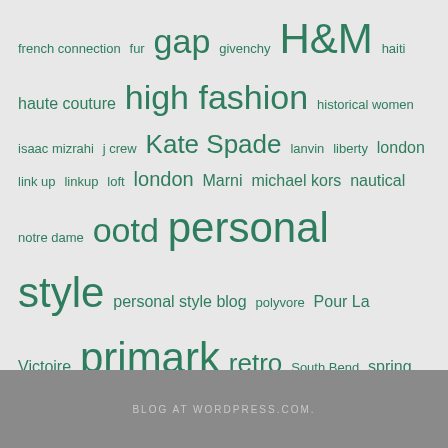[Figure (other): Tag cloud with fashion and style blog tags in various sizes, all in teal/green color. Tags include: french connection, fur, gap, givenchy, H&M, haiti, haute couture, high fashion, historical women, isaac mizrahi, j crew, Kate Spade, lanvin, liberty, london, link up, linkup, loft, london, Marni, michael kors, nautical, notre dame, ootd, personal style, personal style blog, polyvore, Pour La Victoire, primark, retro, South Bend, spring 2014, st augustine, street style, style, style blog, summer style, talbots, target, The Clothesline, the row, thrifted, thrifting, tommy hilfiger, tourist, travel, travel blog, urban outfitters, vacation, vintage, vintage hat, vintage style, wednesdays for women, wolford, Zara]
BLOG AT WORDPRESS.COM.